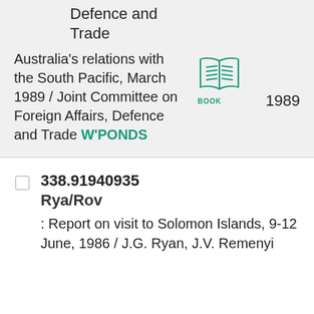Defence and Trade
Australia's relations with the South Pacific, March 1989 / Joint Committee on Foreign Affairs, Defence and Trade W'PONDS
[Figure (illustration): Teal/green open book icon with lines representing text, labeled BOOK]
1989
338.91940935
Rya/Rov
: Report on visit to Solomon Islands, 9-12 June, 1986 / J.G. Ryan, J.V. Remenyi